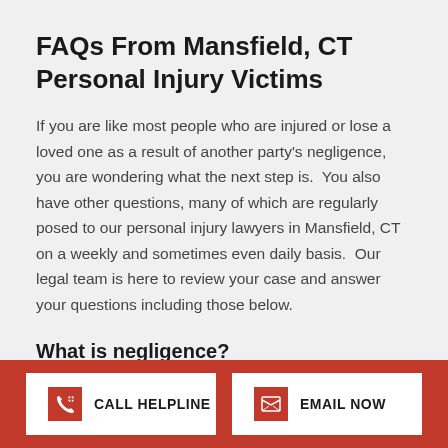FAQs From Mansfield, CT Personal Injury Victims
If you are like most people who are injured or lose a loved one as a result of another party's negligence,  you are wondering what the next step is.  You also have other questions, many of which are regularly posed to our personal injury lawyers in Mansfield, CT on a weekly and sometimes even daily basis.  Our legal team is here to review your case and answer your questions including those below.
What is negligence?
CALL HELPLINE | EMAIL NOW